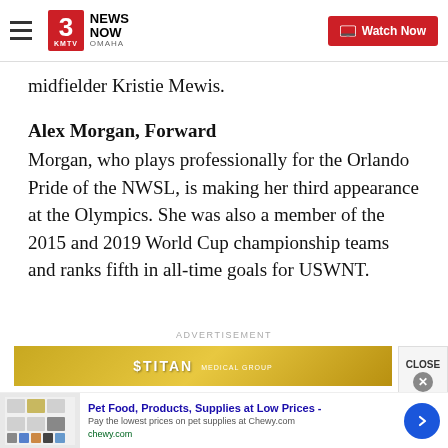3 News Now KMTV Omaha — Watch Now
midfielder Kristie Mewis.
Alex Morgan, Forward
Morgan, who plays professionally for the Orlando Pride of the NWSL, is making her third appearance at the Olympics. She was also a member of the 2015 and 2019 World Cup championship teams and ranks fifth in all-time goals for USWNT.
ADVERTISEMENT
[Figure (other): Titan Medical Group advertisement banner with gold background]
[Figure (other): Chewy.com pet food advertisement banner at bottom of page]